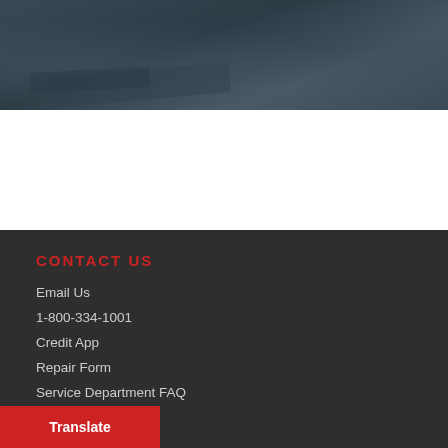[Figure (photo): Dark slate/stone textured background image, dark blue-gray tones]
CONTACT US
Email Us
1-800-334-1001
Credit App
Repair Form
Service Department FAQ
...nditions
Translate